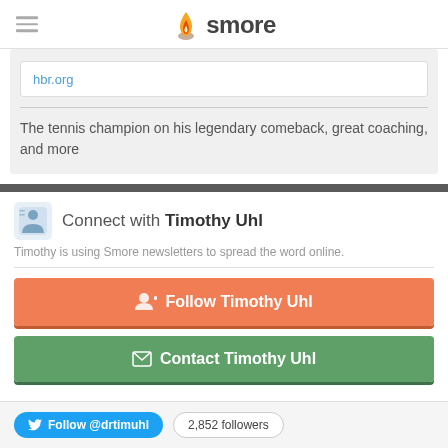smore
hbr.org
The tennis champion on his legendary comeback, great coaching, and more
Connect with Timothy Uhl
Timothy is using Smore newsletters to spread the word online.
Follow Timothy Uhl
Contact Timothy Uhl
Follow @drtimuhl  2,852 followers